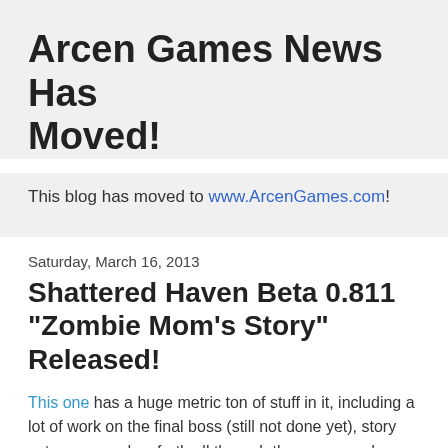Arcen Games News Has Moved!
This blog has moved to www.ArcenGames.com!
Saturday, March 16, 2013
Shattered Haven Beta 0.811 "Zombie Mom's Story" Released!
This one has a huge metric ton of stuff in it, including a lot of work on the final boss (still not done yet), story cutscenes and so forth all through the game, and even a new weapon that many people won't find on their first playthrough.
Probably my favorite thing in this particular release is the work done on the subplots involving "Zombie Mom."  You meet her really early in the game, and her story can play out